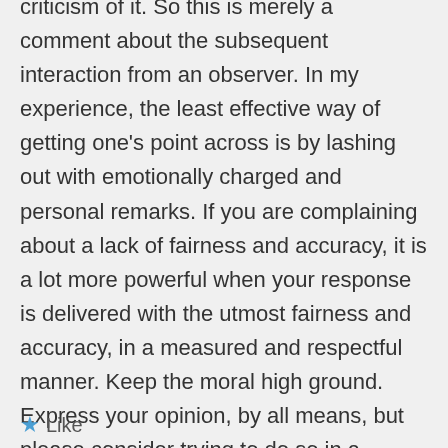criticism of it. So this is merely a comment about the subsequent interaction from an observer. In my experience, the least effective way of getting one's point across is by lashing out with emotionally charged and personal remarks. If you are complaining about a lack of fairness and accuracy, it is a lot more powerful when your response is delivered with the utmost fairness and accuracy, in a measured and respectful manner. Keep the moral high ground. Express your opinion, by all means, but please consider trying to do so in a professional and therefore more effective, manner. With all due respect.
Like